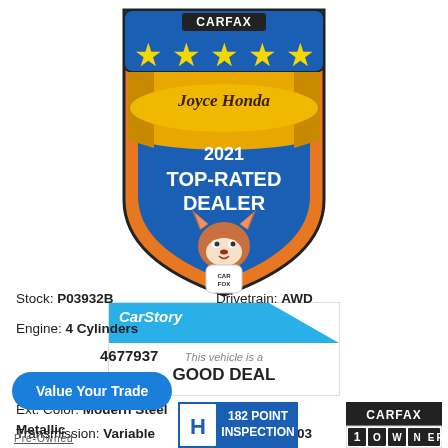[Figure (logo): CARFAX 5-star Top-Rated Dealer badge for Joyce Honda 2021, with Car Fox mascot]
[Figure (logo): CarStory badge stating 'This vehicle is a GOOD DEAL']
Ext. Color: Modern Steel Metallic    Int. Color: Black
Transmission: Variable    Mileage: 31,503
Stock: P03932B    Drivetrain: AWD
Engine: 4 Cylinders
677937
[Figure (logo): Value Your Trade button]
[Figure (logo): Pre-Owned label]
[Figure (logo): Honda 182 Point Inspection badge]
[Figure (logo): CARFAX 1 Owner badge]